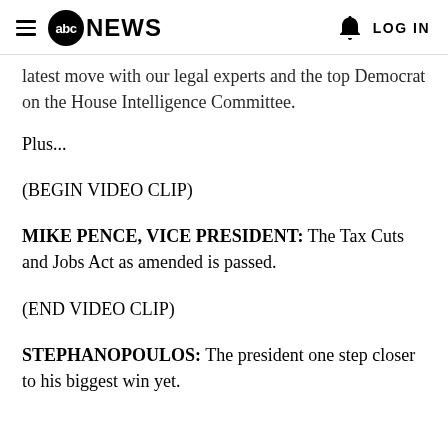abc NEWS  LOG IN
latest move with our legal experts and the top Democrat on the House Intelligence Committee.
Plus...
(BEGIN VIDEO CLIP)
MIKE PENCE, VICE PRESIDENT: The Tax Cuts and Jobs Act as amended is passed.
(END VIDEO CLIP)
STEPHANOPOULOS: The president one step closer to his biggest win yet.